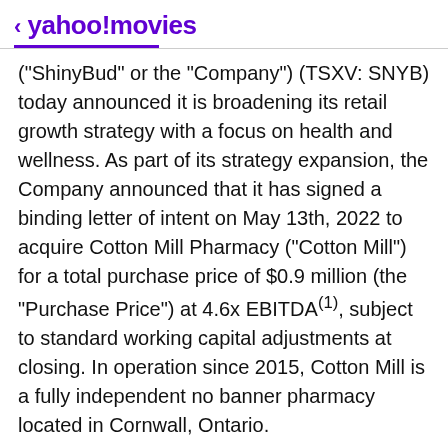< yahoo!movies
("ShinyBud" or the "Company") (TSXV: SNYB) today announced it is broadening its retail growth strategy with a focus on health and wellness. As part of its strategy expansion, the Company announced that it has signed a binding letter of intent on May 13th, 2022 to acquire Cotton Mill Pharmacy ("Cotton Mill") for a total purchase price of $0.9 million (the "Purchase Price") at 4.6x EBITDA(1), subject to standard working capital adjustments at closing. In operation since 2015, Cotton Mill is a fully independent no banner pharmacy located in Cornwall, Ontario.
[Figure (screenshot): Ad bar with scroll to continue with content message and an advertisement image below with a green How Much Would button]